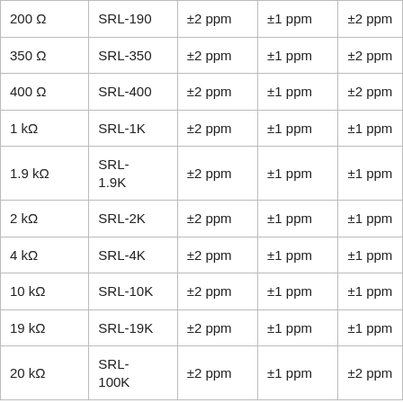| 200 Ω | SRL-190 | ±2 ppm | ±1 ppm | ±2 ppm |
| 350 Ω | SRL-350 | ±2 ppm | ±1 ppm | ±2 ppm |
| 400 Ω | SRL-400 | ±2 ppm | ±1 ppm | ±2 ppm |
| 1 kΩ | SRL-1K | ±2 ppm | ±1 ppm | ±1 ppm |
| 1.9 kΩ | SRL-1.9K | ±2 ppm | ±1 ppm | ±1 ppm |
| 2 kΩ | SRL-2K | ±2 ppm | ±1 ppm | ±1 ppm |
| 4 kΩ | SRL-4K | ±2 ppm | ±1 ppm | ±1 ppm |
| 10 kΩ | SRL-10K | ±2 ppm | ±1 ppm | ±1 ppm |
| 19 kΩ | SRL-19K | ±2 ppm | ±1 ppm | ±1 ppm |
| 20 kΩ | SRL-100K | ±2 ppm | ±1 ppm | ±2 ppm |